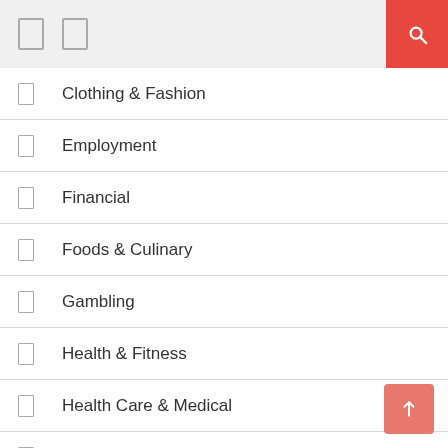navigation header with icons and search button
Clothing & Fashion
Employment
Financial
Foods & Culinary
Gambling
Health & Fitness
Health Care & Medical
Home Products & Services
Internet Services
Miscellaneous